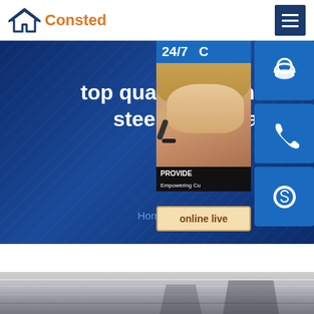[Figure (logo): Consted logo with house icon in navy blue and orange brand name]
[Figure (infographic): Hero banner with dark blue background showing 'top quality inchina lo... steel sheet pla...' heading, Home >> AH36 steel breadcrumb, and overlapping customer service widgets including 24/7 panel, headset/phone/skype icon buttons, and online live chat button]
[Figure (photo): Bottom photo showing steel sheet plates in a manufacturing facility]